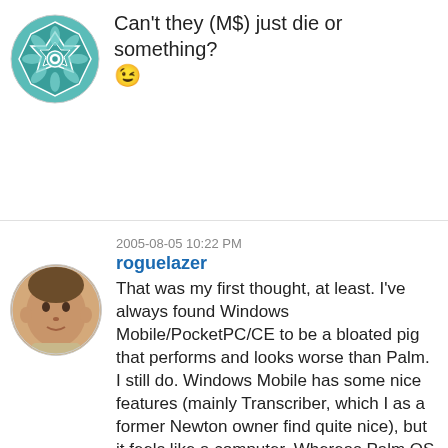[Figure (illustration): Teal/green geometric mandala-style avatar in a circle]
Can't they (M$) just die or something? 😉
[Figure (photo): Profile photo of a man, circular avatar]
2005-08-05 10:22 PM
roguelazer
That was my first thought, at least. I've always found Windows Mobile/PocketPC/CE to be a bloated pig that performs and looks worse than Palm. I still do. Windows Mobile has some nice features (mainly Transcriber, which I as a former Newton owner find quite nice), but it feels like a computer. Whereas Palm OS feels like its own device, with each program launching instantly, maintaining a simple UI, and just doing what is needed. However, I then realized that if you're getting a convergence/pda-phone device, perhaps you deserve to be stuck with Windows Mobile. 😉